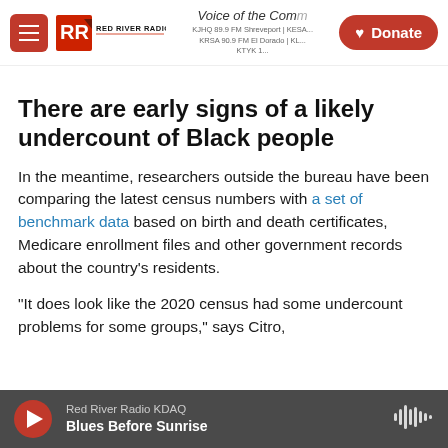Red River Radio — Voice of the Community — Donate
There are early signs of a likely undercount of Black people
In the meantime, researchers outside the bureau have been comparing the latest census numbers with a set of benchmark data based on birth and death certificates, Medicare enrollment files and other government records about the country's residents.
"It does look like the 2020 census had some undercount problems for some groups," says Citro,
Red River Radio KDAQ — Blues Before Sunrise